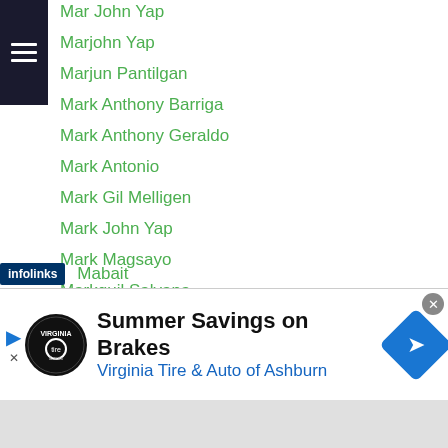Mar John Yap
Marjohn Yap
Marjun Pantilgan
Mark Anthony Barriga
Mark Anthony Geraldo
Mark Antonio
Mark Gil Melligen
Mark John Yap
Mark Magsayo
Markquil Salvana
Mark Vicelles
Mark Vincent Bernaldez
Marlon Paniamogan
Marlon Tapales
Marvin Esquierdo
Mabait
[Figure (screenshot): Advertisement banner: Summer Savings on Brakes - Virginia Tire & Auto of Ashburn]